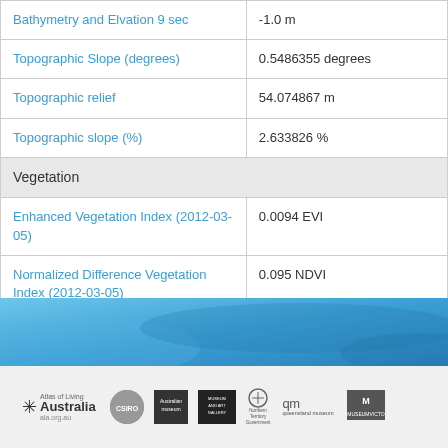| Parameter | Value |
| --- | --- |
| Bathymetry and Elvation 9 sec | -1.0 m |
| Topographic Slope (degrees) | 0.5486355 degrees |
| Topographic relief | 54.074867 m |
| Topographic slope (%) | 2.633826 % |
| Vegetation |  |
| Enhanced Vegetation Index (2012-03-05) | 0.0094 EVI |
| Normalized Difference Vegetation Index (2012-03-05) | 0.095 NDVI |
[Figure (other): Blue gradient banner at footer of page]
Atlas of Living Australia ala.org.au | CSIRO | Australian museum | Museum and Art Gallery Northern Territory Government | qm queensland museum | Museum Victoria